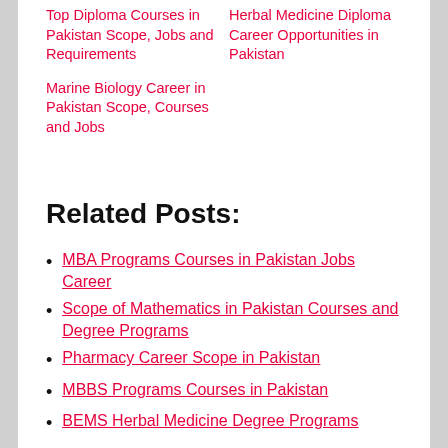Top Diploma Courses in Pakistan Scope, Jobs and Requirements
Herbal Medicine Diploma Career Opportunities in Pakistan
Marine Biology Career in Pakistan Scope, Courses and Jobs
Related Posts:
MBA Programs Courses in Pakistan Jobs Career
Scope of Mathematics in Pakistan Courses and Degree Programs
Pharmacy Career Scope in Pakistan
MBBS Programs Courses in Pakistan
BEMS Herbal Medicine Degree Programs